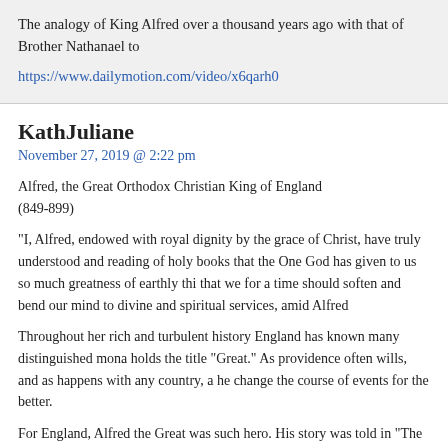The analogy of King Alfred over a thousand years ago with that of Brother Nathanael to
https://www.dailymotion.com/video/x6qarh0
KathJuliane
November 27, 2019 @ 2:22 pm
Alfred, the Great Orthodox Christian King of England
(849-899)
“I, Alfred, endowed with royal dignity by the grace of Christ, have truly understood and reading of holy books that the One God has given to us so much greatness of earthly thi that we for a time should soften and bend our mind to divine and spiritual services, amid Alfred
Throughout her rich and turbulent history England has known many distinguished mona holds the title “Great.” As providence often wills, and as happens with any country, a he change the course of events for the better.
For England, Alfred the Great was such hero. His story was told in “The Life of King Al well: Asser, a Welsh monk, court scholar, and the King’s personal friend. Thanks to Asse about the deeds, aspirations and character of an exceptional man.
…
What made King Alfred “great”? He was a valiant defender of his kingdom and an exce winning battles was only one part of his accomplishments. There were a number of comp